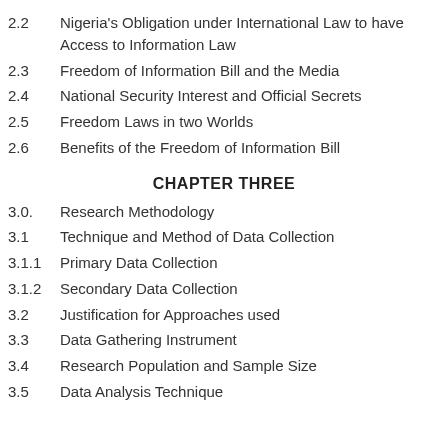2.2    Nigeria's Obligation under International Law to have Access to Information Law
2.3    Freedom of Information Bill and the Media
2.4    National Security Interest and Official Secrets
2.5    Freedom Laws in two Worlds
2.6    Benefits of the Freedom of Information Bill
CHAPTER THREE
3.0.    Research Methodology
3.1    Technique and Method of Data Collection
3.1.1  Primary Data Collection
3.1.2  Secondary Data Collection
3.2    Justification for Approaches used
3.3    Data Gathering Instrument
3.4    Research Population and Sample Size
3.5    Data Analysis Technique